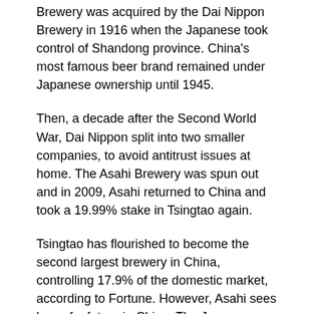Brewery was acquired by the Dai Nippon Brewery in 1916 when the Japanese took control of Shandong province. China's most famous beer brand remained under Japanese ownership until 1945.
Then, a decade after the Second World War, Dai Nippon split into two smaller companies, to avoid antitrust issues at home. The Asahi Brewery was spun out and in 2009, Asahi returned to China and took a 19.99% stake in Tsingtao again.
Tsingtao has flourished to become the second largest brewery in China, controlling 17.9% of the domestic market, according to Fortune. However, Asahi sees less of a future in China. The Japanese firm said last week that it was seeking to sell its Tsingtao stake for at least $1.2 billion.
Asahi has been looking to split from Tsingtao for some time. Earlier this year, its president Akiyoshi Koji expressed disappointment that Tsingtao was not selling Asahi's premium product Asahi Super Dry. "Ownership without control doesn't make much sense," he told Bloomberg